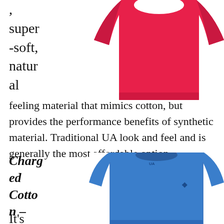, super-soft, natural
[Figure (photo): Pink/red Under Armour women's athletic shirt, upper portion visible]
feeling material that mimics cotton, but provides the performance benefits of synthetic material. Traditional UA look and feel and is generally the most affordable option.
Charged Cotton –
[Figure (photo): Blue Under Armour men's long-sleeve athletic shirt with UA logo on chest]
It's